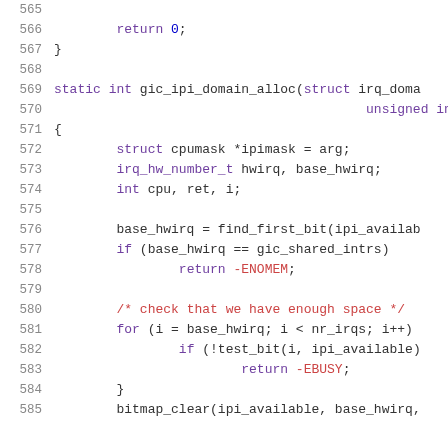Source code listing, lines 565-585, C language kernel code for gic_ipi_domain_alloc function